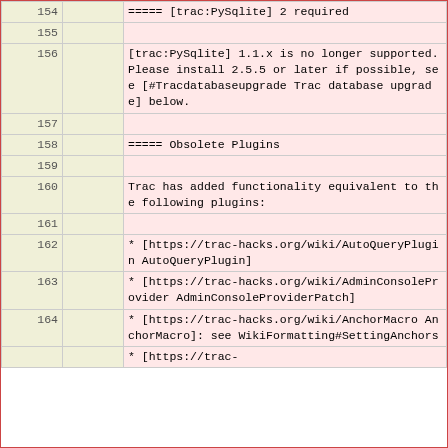| line1 | line2 | content |
| --- | --- | --- |
| 154 |  | ===== [trac:PySqlite] 2 required |
| 155 |  |  |
| 156 |  | [trac:PySqlite] 1.1.x is no longer supported. Please install 2.5.5 or later if possible, see [#Tracdatabaseupgrade Trac database upgrade] below. |
| 157 |  |  |
| 158 |  | ===== Obsolete Plugins |
| 159 |  |  |
| 160 |  | Trac has added functionality equivalent to the following plugins: |
| 161 |  |  |
| 162 |  | * [https://trac-hacks.org/wiki/AutoQueryPlugin AutoQueryPlugin] |
| 163 |  | * [https://trac-hacks.org/wiki/AdminConsoleProvider AdminConsoleProviderPatch] |
| 164 |  | * [https://trac-hacks.org/wiki/AnchorMacro AnchorMacro]: see WikiFormatting#SettingAnchors |
|  |  | * [https://trac- |